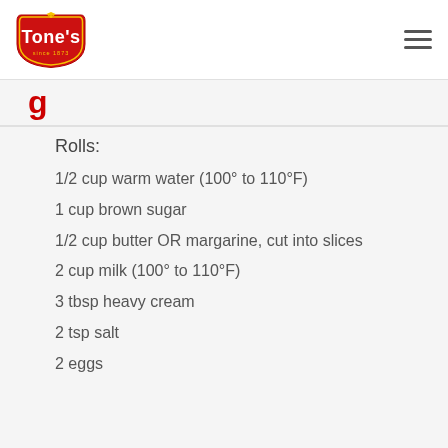[Figure (logo): Tone's spices logo — red shield shape with yellow crown/flower, white text 'Tone's' and yellow 'since 1873']
g
Rolls:
1/2 cup warm water (100° to 110°F)
1 cup brown sugar
1/2 cup butter OR margarine, cut into slices
2 cup milk (100° to 110°F)
3 tbsp heavy cream
2 tsp salt
2 eggs